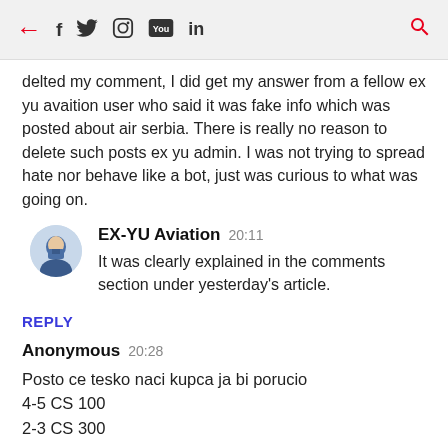← f twitter instagram youtube in 🔍
delted my comment, I did get my answer from a fellow ex yu avaition user who said it was fake info which was posted about air serbia. There is really no reason to delete such posts ex yu admin. I was not trying to spread hate nor behave like a bot, just was curious to what was going on.
EX-YU Aviation 20:11
It was clearly explained in the comments section under yesterday's article.
REPLY
Anonymous 20:28
Posto ce tesko naci kupca ja bi porucio
4-5 CS 100
2-3 CS 300